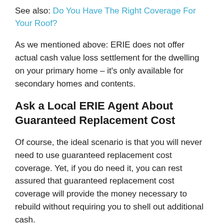See also: Do You Have The Right Coverage For Your Roof?
As we mentioned above: ERIE does not offer actual cash value loss settlement for the dwelling on your primary home – it's only available for secondary homes and contents.
Ask a Local ERIE Agent About Guaranteed Replacement Cost
Of course, the ideal scenario is that you will never need to use guaranteed replacement cost coverage. Yet, if you do need it, you can rest assured that guaranteed replacement cost coverage will provide the money necessary to rebuild without requiring you to shell out additional cash.
“If it's a covered loss and costs run high, we will pay whatever the difference is,” Buckel says. “It’s on us, not you.”